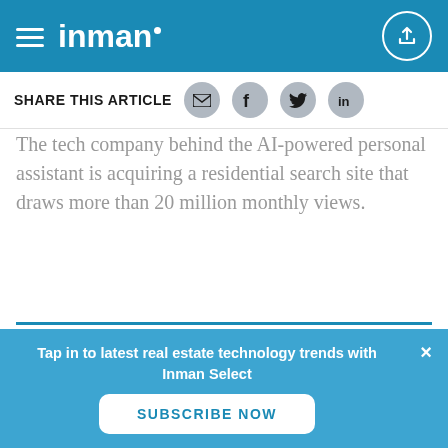inman
SHARE THIS ARTICLE
The tech company behind the AI-powered personal assistant is acquiring a residential search site that draws more than 20 million monthly views.
Real Estate n that gives you the inside track.
Tap in to latest real estate technology trends with Inman Select
SUBSCRIBE NOW